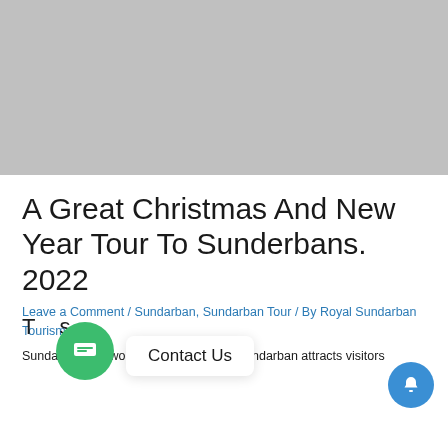[Figure (photo): Gray placeholder hero image at top of page]
A Great Christmas And New Year Tour To Sunderbans. 2022
Leave a Comment / Sundarban, Sundarban Tour / By Royal Sundarban Tourism
T…s
Contact Us
Sundarban is a wonderful spot to visit. Sundarban attracts visitors